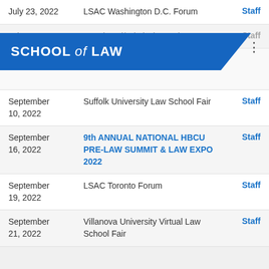July 23, 2022 | LSAC Washington D.C. Forum | Staff
July 25, 2022 | DC Alumni/Admissions Mixer | Staff
[Figure (logo): School of Law banner/header overlay in blue]
09, 2022 | Quinnipiac University School of Law
September 10, 2022 | Suffolk University Law School Fair | Staff
September 16, 2022 | 9th ANNUAL NATIONAL HBCU PRE-LAW SUMMIT & LAW EXPO 2022 | Staff
September 19, 2022 | LSAC Toronto Forum | Staff
September 21, 2022 | Villanova University Virtual Law School Fair | Staff